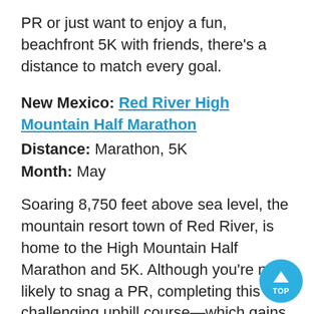PR or just want to enjoy a fun, beachfront 5K with friends, there’s a distance to match every goal.
New Mexico: Red River High Mountain Half Marathon
Distance: Marathon, 5K
Month: May
Soaring 8,750 feet above sea level, the mountain resort town of Red River, is home to the High Mountain Half Marathon and 5K. Although you’re not likely to snag a PR, completing this challenging uphill course—which gains a total of 700 feet in elevation—will earn you some serious bragging rights. Enjoy resplendent views of